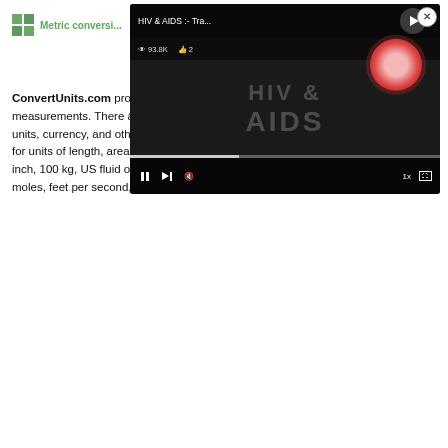Metric conversi...
ConvertUnits.com provides an online conversion calculator for all types of measurements. There are metric conversion tables for SI units, as well as English units, currency, and other data. Type in unit symbols, abbreviations, or full names for units of length, area, mass, pressure, and other types. Examples include mm, inch, 100 kg, US fluid ounce, 6'3", 10 stone 4, cubic cm, metres squared, grams, moles, feet per second, and many more!
[Figure (screenshot): Video player overlay showing 'HIV & AIDS :- Tra...' with 93.8K views and 2 likes, featuring a dark background with HIV & AIDS text, a virus illustration, and playback controls including pause, next, mute, 1x speed, and fullscreen buttons.]